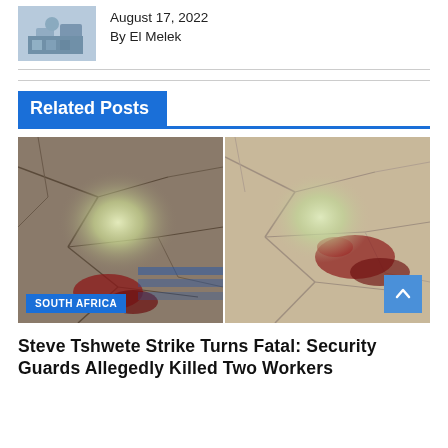[Figure (photo): Thumbnail image of a person]
August 17, 2022
By El Melek
Related Posts
[Figure (photo): Left photo: cracked pavement with blood stain, blurred central area. Badge reading SOUTH AFRICA.]
[Figure (photo): Right photo: cracked pavement with blood stain, blurred central area.]
Steve Tshwete Strike Turns Fatal: Security Guards Allegedly Killed Two Workers